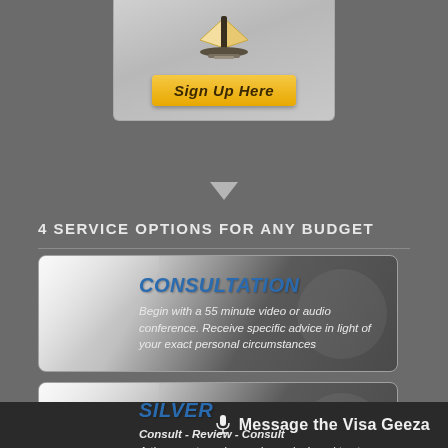[Figure (illustration): Gray sign-up panel with book icon and orange 'Sign Up Here' button, with downward arrow below]
4 SERVICE OPTIONS FOR ANY BUDGET
[Figure (infographic): CONSULTATION service card with silver/gray gradient background. Text: 'Begin with a 55 minute video or audio conference. Receive specific advice in light of your exact personal circumstances']
[Figure (infographic): SILVER service card with silver/gray gradient background. Text: 'Consult - Review - Consult. A three part service package designed to steer your application in the right direction']
Message the Visa Geeza